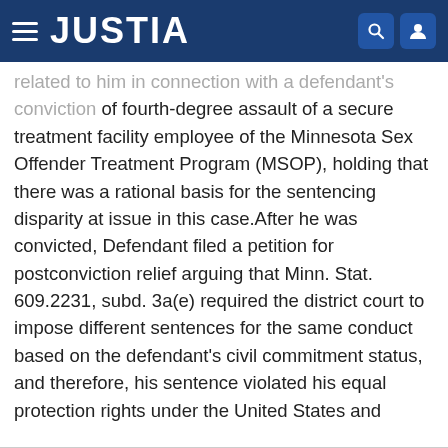JUSTIA
related to him in connection with a defendant's conviction of fourth-degree assault of a secure treatment facility employee of the Minnesota Sex Offender Treatment Program (MSOP), holding that there was a rational basis for the sentencing disparity at issue in this case.After he was convicted, Defendant filed a petition for postconviction relief arguing that Minn. Stat. 609.2231, subd. 3a(e) required the district court to impose different sentences for the same conduct based on the defendant's civil commitment status, and therefore, his sentence violated his equal protection rights under the United States and Minnesota Constitutions. The district court denied postconviction relief, and the court of appeals affirmed. The Supreme Court affirmed, holding that the disparate sentence survived rational basis review. View "State v. Lee" on Justia Law